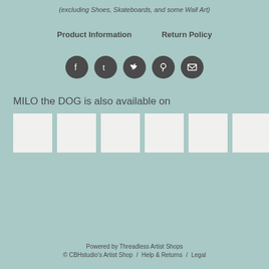(excluding Shoes, Skateboards, and some Wall Art)
Product Information    Return Policy
[Figure (other): Row of 5 circular social media icon buttons: Facebook, Tumblr, Twitter, Pinterest, Email]
MILO the DOG is also available on
[Figure (other): Six white thumbnail image boxes in a horizontal row]
Powered by Threadless Artist Shops © CBHstudio's Artist Shop / Help & Returns / Legal